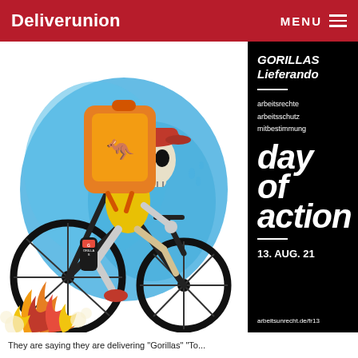Deliverunion  MENU
[Figure (illustration): Cartoon skeleton courier wearing a red cap and yellow outfit, riding a bicycle with flames, carrying a large orange delivery backpack with a Deliveroo logo. A 'Gorillas' branded bottle in the basket. Blue spray-paint background. Right panel on black background shows event info for 'GORILLAS Lieferando day of action 13. AUG. 21'.]
They are saying they are delivering "Gorillas" "To...